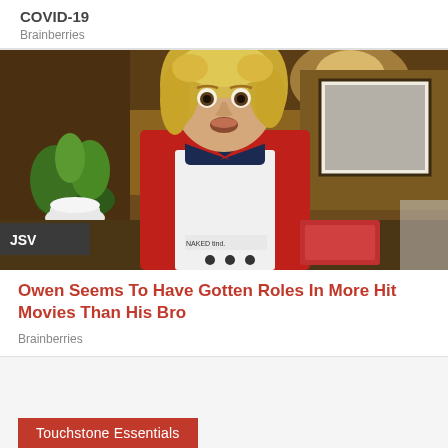COVID-19
Brainberries
[Figure (photo): A man with blonde hair wearing a red shirt and white apron in a restaurant setting, with a JSV badge overlay in the lower left corner]
Owen Seems To Have Gotten Roles In More Hit Movies Than His Bro
Brainberries
Touchstone Essentials